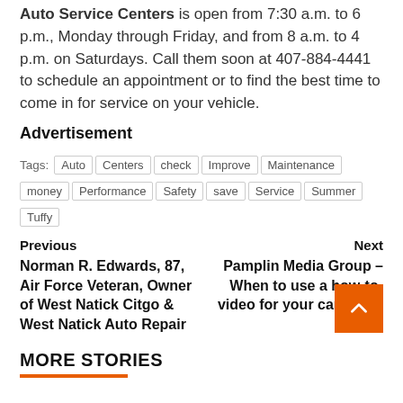...The Apopka Chief and The Planter newspapers. Tuffy Auto Service Centers is open from 7:30 a.m. to 6 p.m., Monday through Friday, and from 8 a.m. to 4 p.m. on Saturdays. Call them soon at 407-884-4441 to schedule an appointment or to find the best time to come in for service on your vehicle.
Advertisement
Tags: Auto | Centers | check | Improve | Maintenance | money | Performance | Safety | save | Service | Summer | Tuffy
Previous
Norman R. Edwards, 87, Air Force Veteran, Owner of West Natick Citgo & West Natick Auto Repair
Next
Pamplin Media Group – When to use a how-to-video for your car repair
MORE STORIES